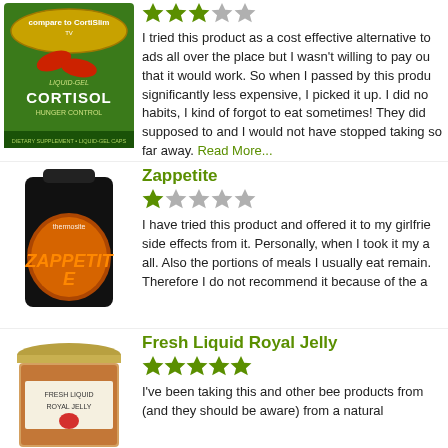[Figure (photo): Product image of Cortisol Hunger Control Liquid-Gel supplement bottle with green label saying Compare To CortiSlim]
I tried this product as a cost effective alternative to ads all over the place but I wasn't willing to pay out that it would work. So when I passed by this product significantly less expensive, I picked it up. I did no habits, I kind of forgot to eat sometimes! They did supposed to and I would not have stopped taking so far away. Read More...
[Figure (photo): Product image of Zappetite thermogenic supplement in a dark bottle with orange label]
Zappetite
I have tried this product and offered it to my girlfriend side effects from it. Personally, when I took it my a all. Also the portions of meals I usually eat remain. Therefore I do not recommend it because of the a
[Figure (photo): Product image of Fresh Liquid Royal Jelly in a small glass jar with gold lid]
Fresh Liquid Royal Jelly
I've been taking this and other bee products from (and they should be aware) from a natural